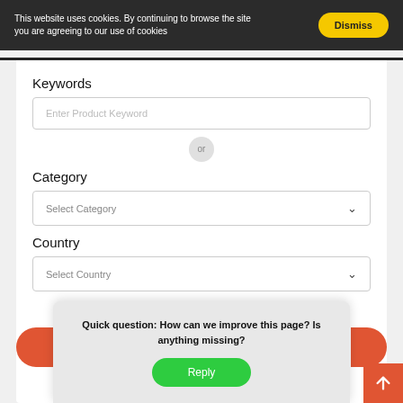This website uses cookies. By continuing to browse the site you are agreeing to our use of cookies
Keywords
Enter Product Keyword
or
Category
Select Category
Country
Select Country
Quick question: How can we improve this page? Is anything missing?
Reply